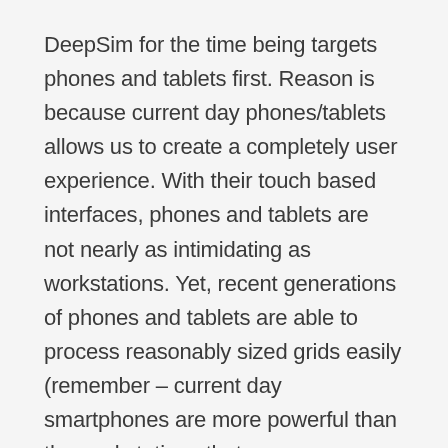DeepSim for the time being targets phones and tablets first. Reason is because current day phones/tablets allows us to create a completely user experience. With their touch based interfaces, phones and tablets are not nearly as intimidating as workstations. Yet, recent generations of phones and tablets are able to process reasonably sized grids easily (remember – current day smartphones are more powerful than the workstations that were common a few years ago).
If you want to try DeepSim, it is available